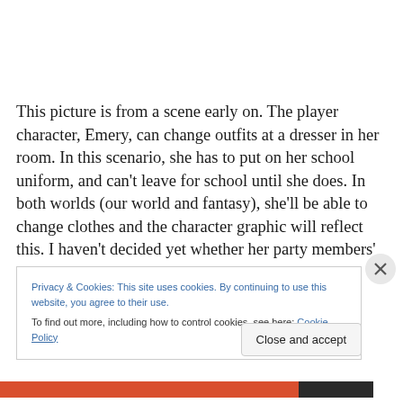This picture is from a scene early on. The player character, Emery, can change outfits at a dresser in her room. In this scenario, she has to put on her school uniform, and can't leave for school until she does. In both worlds (our world and fantasy), she'll be able to change clothes and the character graphic will reflect this. I haven't decided yet whether her party members' graphics will also change.
Privacy & Cookies: This site uses cookies. By continuing to use this website, you agree to their use.
To find out more, including how to control cookies, see here: Cookie Policy
Close and accept